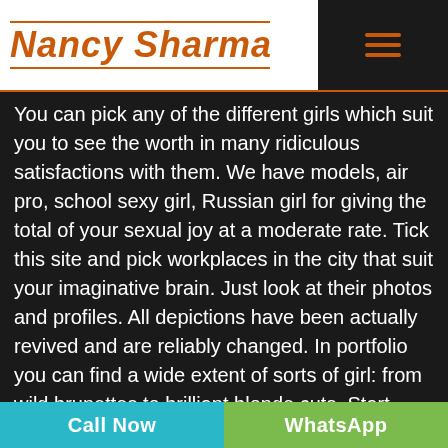[Figure (logo): Nancy Sharma script logo in orange with horizontal lines above and below, on white background with black hamburger menu on the right]
You can pick any of the different girls which suit you to see the worth in many ridiculous satisfactions with them. We have models, air pro, school sexy girl, Russian girl for giving the total of your sexual joy at a moderate rate. Tick this site and pick workplaces in the city that suit your imaginative brain. Just look at their photos and profiles. All depictions have been actually revived and are reliably changed. In portfolio you can find a wide extent of sorts of girl: from wild brunettes to brilliant blonde cuts. Start organizing your minutes in the city and how you can deal with your pal near you. Mewat call girls is to perform sophisticate with your client. We selected all the age get-together of sexy girl, ladies and proposition them a
Call Now   WhatsApp